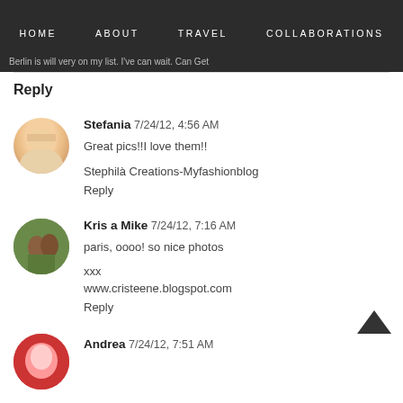HOME  ABOUT  TRAVEL  COLLABORATIONS
Berlin is will very on my list. I've can wait. Can Get...
Reply
Stefania  7/24/12, 4:56 AM
Great pics!!I love them!!

Stephilà Creations-Myfashionblog
Reply
Kris a Mike  7/24/12, 7:16 AM
paris, oooo! so nice photos

xxx
www.cristeene.blogspot.com
Reply
Andrea  7/24/12, 7:51 AM